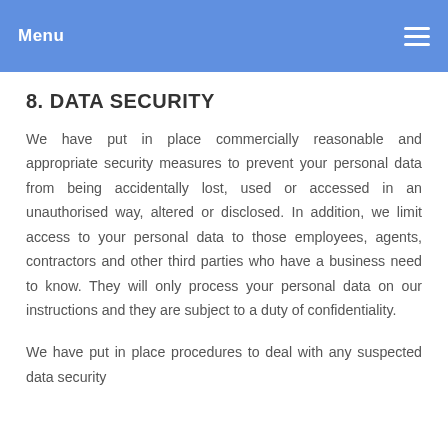Menu
8. DATA SECURITY
We have put in place commercially reasonable and appropriate security measures to prevent your personal data from being accidentally lost, used or accessed in an unauthorised way, altered or disclosed. In addition, we limit access to your personal data to those employees, agents, contractors and other third parties who have a business need to know. They will only process your personal data on our instructions and they are subject to a duty of confidentiality.
We have put in place procedures to deal with any suspected data security